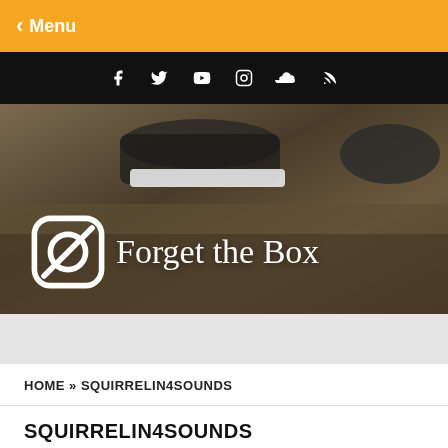< Menu
[Figure (other): Social media icons bar (Facebook, Twitter, YouTube, Instagram, SoundCloud, RSS) on black background]
[Figure (logo): Forget the Box website hero banner with logo (circular slash icon) and text 'Forget the Box' in white serif font over a dark street-level photo of feet/shoes]
HOME » SQUIRRELIN4SOUNDS
SQUIRRELIN4SOUNDS